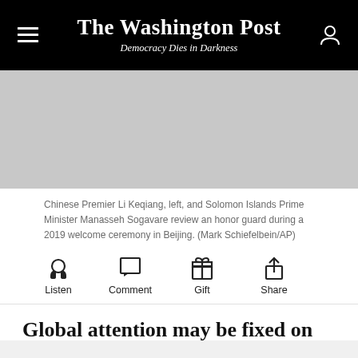The Washington Post — Democracy Dies in Darkness
[Figure (photo): Gray placeholder image area representing a photo of Chinese Premier Li Keqiang and Solomon Islands Prime Minister Manasseh Sogavare]
Chinese Premier Li Keqiang, left, and Solomon Islands Prime Minister Manasseh Sogavare review an honor guard during a 2019 welcome ceremony in Beijing. (Mark Schiefelbein/AP)
Listen  Comment  Gift  Share
Global attention may be fixed on Russia's invasion of Ukraine, but the world cannot afford to ignore